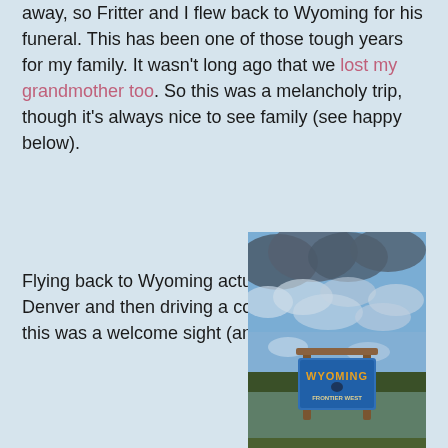away, so Fritter and I flew back to Wyoming for his funeral. This has been one of those tough years for my family.  It wasn't long ago that we lost my grandmother too.  So this was a melancholy trip, though it's always nice to see family (see happy below).
Flying back to Wyoming actually means flying into Denver and then driving a couple hours home.  So this was a welcome sight (and a pretty sign!):
[Figure (photo): A Wyoming welcome sign with a blue sky and clouds in the background, mounted on a wooden frame. The sign reads 'Wyoming' with 'Frontier West' below.]